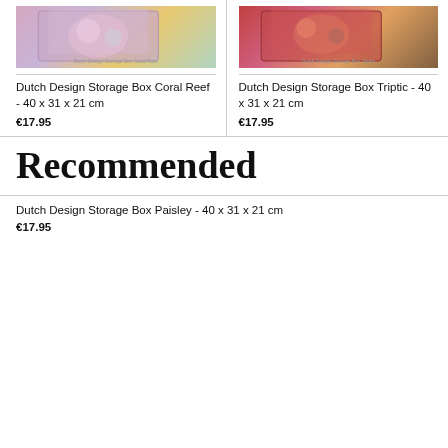[Figure (photo): Dutch Design Storage Box Coral Reef product image]
Dutch Design Storage Box Coral Reef
Dutch Design Storage Box Coral Reef - 40 x 31 x 21 cm
€17.95
[Figure (photo): Dutch Design Storage Box Triptic product image]
Dutch Design Storage Box Triptic
Dutch Design Storage Box Triptic - 40 x 31 x 21 cm
€17.95
Recommended
Dutch Design Storage Box Paisley - 40 x 31 x 21 cm
€17.95